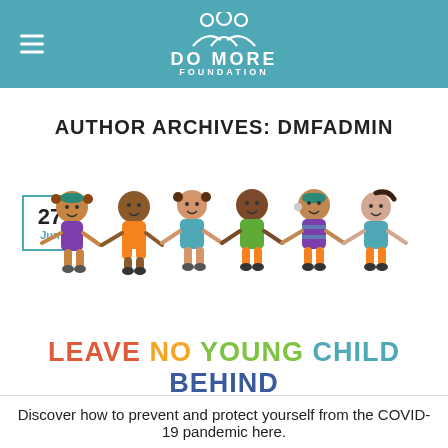DO MORE FOUNDATION
AUTHOR ARCHIVES: DMFADMIN
[Figure (illustration): Six cartoon children of diverse ethnicities holding hands in a row, above the text LEAVE NO YOUNG CHILD BEHIND in colorful letters]
Discover how to prevent and protect yourself from the COVID-19 pandemic here.